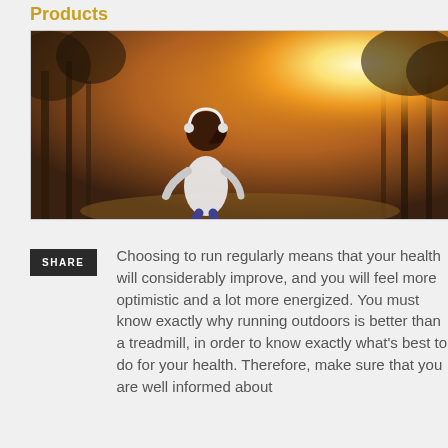Products
[Figure (photo): Woman with headphones jogging outdoors viewed from behind, with sunlight glowing through autumn trees in warm golden tones]
Choosing to run regularly means that your health will considerably improve, and you will feel more optimistic and a lot more energized. You must know exactly why running outdoors is better than a treadmill, in order to know exactly what's best to do for your health. Therefore, make sure that you are well informed about